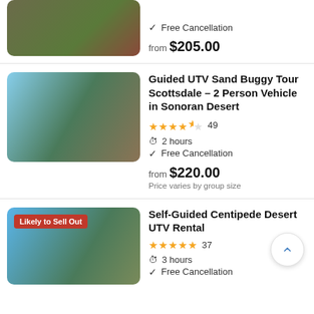[Figure (photo): Partial view of an ATV/quad bike in an outdoor desert/green setting]
Free Cancellation
from $205.00
[Figure (photo): Two people posing with a UTV sand buggy in the Sonoran Desert]
Guided UTV Sand Buggy Tour Scottsdale - 2 Person Vehicle in Sonoran Desert
★★★★½ 49
2 hours
Free Cancellation
from $220.00
Price varies by group size
[Figure (photo): Person in helmet and gear in a UTV with desert and blue sky background; badge says Likely to Sell Out]
Self-Guided Centipede Desert UTV Rental
★★★★★ 37
3 hours
Free Cancellation